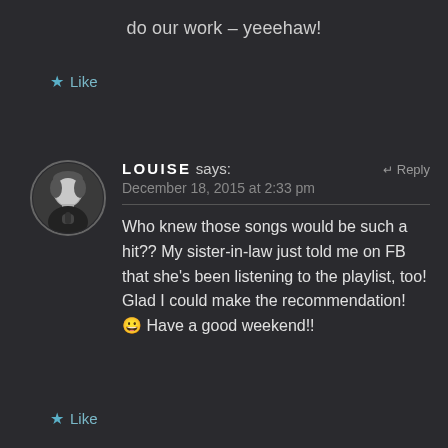do our work – yeeehaw!
★ Like
[Figure (photo): Round profile photo of a woman with short dark hair, black and white photo, holding a microphone]
LOUISE says: December 18, 2015 at 2:33 pm
↵ Reply
Who knew those songs would be such a hit?? My sister-in-law just told me on FB that she's been listening to the playlist, too! Glad I could make the recommendation! 😀 Have a good weekend!!
★ Like